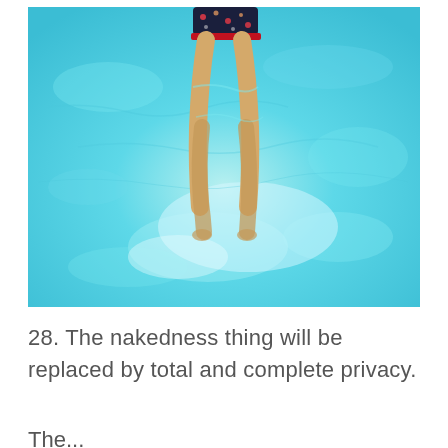[Figure (photo): Aerial/overhead view of a person's legs and lower body submerged in a bright turquoise swimming pool. The person is wearing dark floral-patterned swim shorts with a red waistband. The water is clear and bright blue-green with light refraction patterns visible on the pool floor.]
28. The nakedness thing will be replaced by total and complete privacy. The...